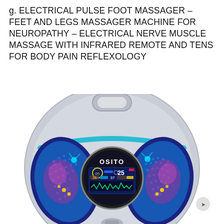g. ELECTRICAL PULSE FOOT MASSAGER – FEET AND LEGS MASSAGER MACHINE FOR NEUROPATHY – ELECTRICAL NERVE MUSCLE MASSAGE WITH INFRARED REMOTE AND TENS FOR BODY PAIN REFLEXOLOGY
[Figure (photo): OSITO brand electrical pulse foot massager device — a round disc-shaped unit in silver/grey with a teal accent stripe, two blue foot pads with illuminated nerve/reflexology graphics in blue and pink/magenta, and a central circular digital display screen showing the OSITO logo and settings (numbers 25, 28, 37 and a waveform readout). The device has a carry handle at the top.]